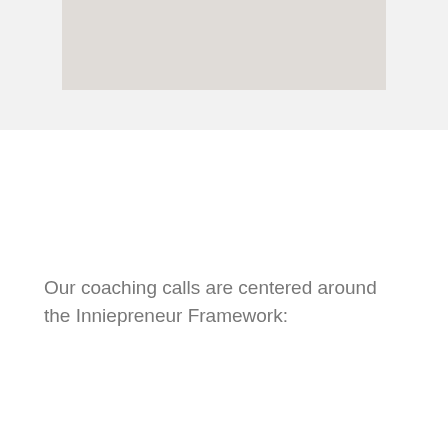[Figure (photo): Partial photo/image placeholder at the top of the page, showing a light grayish-beige rectangle]
Our coaching calls are centered around the Inniepreneur Framework: